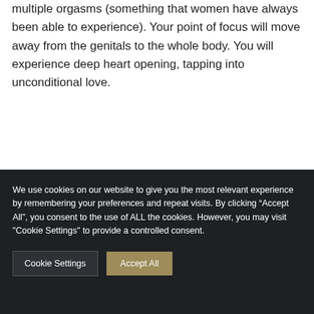multiple orgasms (something that women have always been able to experience). Your point of focus will move away from the genitals to the whole body. You will experience deep heart opening, tapping into unconditional love.
[Figure (photo): Partial view of a person's head/hair against a light background, cropped at the bottom of the content area]
We use cookies on our website to give you the most relevant experience by remembering your preferences and repeat visits. By clicking “Accept All”, you consent to the use of ALL the cookies. However, you may visit "Cookie Settings" to provide a controlled consent.